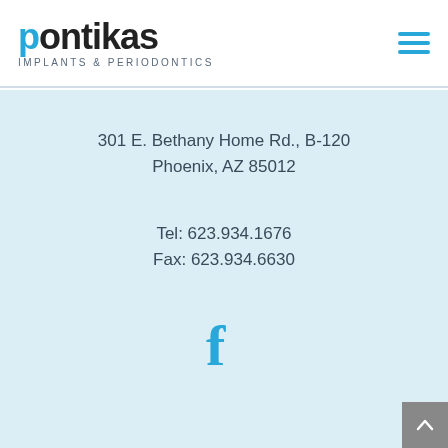[Figure (logo): Pontikas Implants & Periodontics logo with blue lowercase 'p' and black text 'ontikas', subtitle 'IMPLANTS & PERIODONTICS']
[Figure (other): Hamburger menu icon with three horizontal blue lines]
301 E. Bethany Home Rd., B-120
Phoenix, AZ 85012
Tel: 623.934.1676
Fax: 623.934.6630
[Figure (other): Facebook 'f' icon in blue]
[Figure (other): Scroll-to-top button with upward arrow]